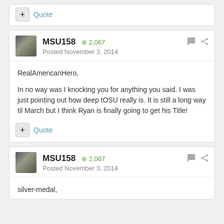+ Quote
MSU158 +2,067
Posted November 3, 2014
RealAmericanHero,

In no way was I knocking you for anything you said.  I was just pointing out how deep tOSU really is.  It is still a long way til March but I think Ryan is finally going to get his Title!
+ Quote
MSU158 +2,067
Posted November 3, 2014
silver-medal,